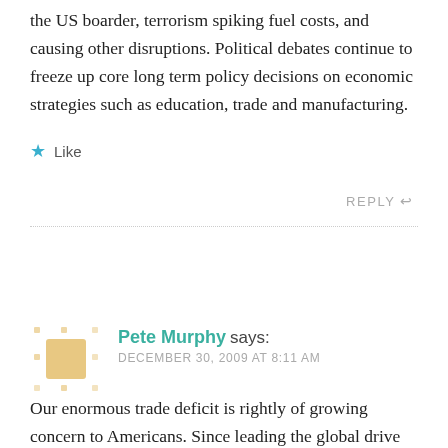the US boarder, terrorism spiking fuel costs, and causing other disruptions. Political debates continue to freeze up core long term policy decisions on economic strategies such as education, trade and manufacturing.
★ Like
REPLY ↩
Pete Murphy says:
DECEMBER 30, 2009 AT 8:11 AM
Our enormous trade deficit is rightly of growing concern to Americans. Since leading the global drive toward trade liberalization by signing the Global Agreement on Tariffs and Trade in 1947, America